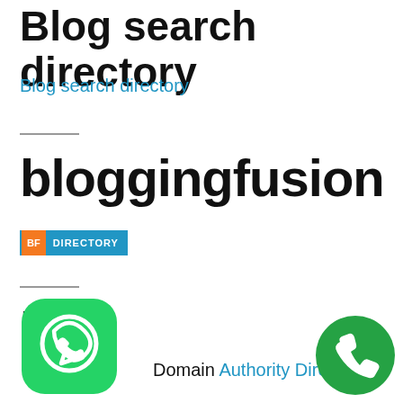Blog search directory
Blog search directory
bloggingfusion
[Figure (logo): BF DIRECTORY logo badge: orange box with 'BF' text and blue box with 'DIRECTORY' text, outlined in blue]
DA
[Figure (logo): WhatsApp green circular icon with phone handset silhouette]
Domain Authority Directory
[Figure (logo): Green circular phone/call icon]